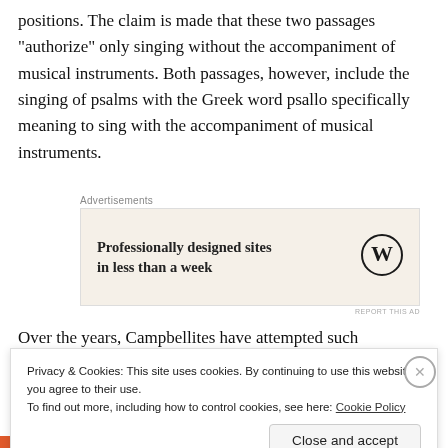positions. The claim is made that these two passages “authorize” only singing without the accompaniment of musical instruments. Both passages, however, include the singing of psalms with the Greek word psallo specifically meaning to sing with the accompaniment of musical instruments.
[Figure (other): Advertisement box with text 'Professionally designed sites in less than a week' and WordPress logo on a cream/beige background. Labeled 'Advertisements' above.]
Over the years, Campbellites have attempted such
Privacy & Cookies: This site uses cookies. By continuing to use this website, you agree to their use.
To find out more, including how to control cookies, see here: Cookie Policy